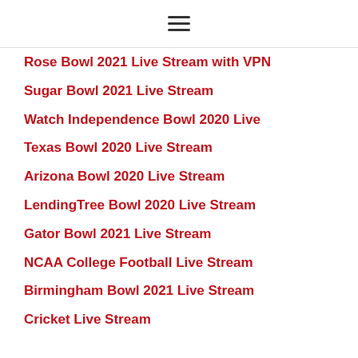≡
Rose Bowl 2021 Live Stream with VPN
Sugar Bowl 2021 Live Stream
Watch Independence Bowl 2020 Live
Texas Bowl 2020 Live Stream
Arizona Bowl 2020 Live Stream
LendingTree Bowl 2020 Live Stream
Gator Bowl 2021 Live Stream
NCAA College Football Live Stream
Birmingham Bowl 2021 Live Stream
Cricket Live Stream